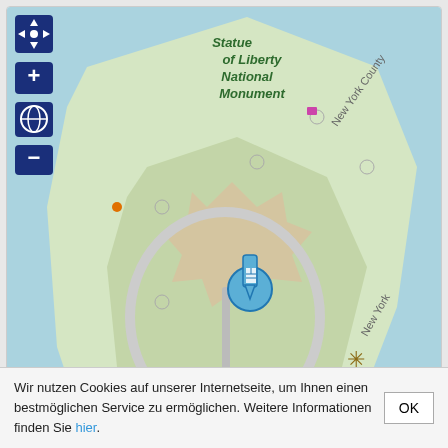[Figure (map): OpenStreetMap showing Liberty Island with the Statue of Liberty National Monument. Map controls (pan arrows, zoom +/-, globe) visible on left side. Island shown in green/tan with surrounding blue water. Location marker visible. Labels include 'Statue of Liberty National Monument', 'Manhattan', 'New York', 'New York County', 'City of New York'. Attribution: Data CC-By-SA by OpenStreetMap.]
Struktur allgemein
| Gebäudetyp | Denkmal |
| --- | --- |
Wir nutzen Cookies auf unserer Internetseite, um Ihnen einen bestmöglichen Service zu ermöglichen. Weitere Informationen finden Sie hier.